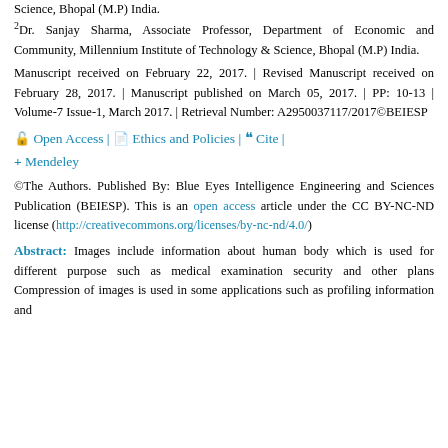Science, Bhopal (M.P) India.
2Dr. Sanjay Sharma, Associate Professor, Department of Economic and Community, Millennium Institute of Technology & Science, Bhopal (M.P) India.
Manuscript received on February 22, 2017. | Revised Manuscript received on February 28, 2017. | Manuscript published on March 05, 2017. | PP: 10-13 | Volume-7 Issue-1, March 2017. | Retrieval Number: A2950037117/2017©BEIESP
🔓 Open Access | 📄 Ethics and Policies | ❝ Cite | + Mendeley
©The Authors. Published By: Blue Eyes Intelligence Engineering and Sciences Publication (BEIESP). This is an open access article under the CC BY-NC-ND license (http://creativecommons.org/licenses/by-nc-nd/4.0/)
Abstract: Images include information about human body which is used for different purpose such as medical examination security and other plans Compression of images is used in some applications such as profiling information and